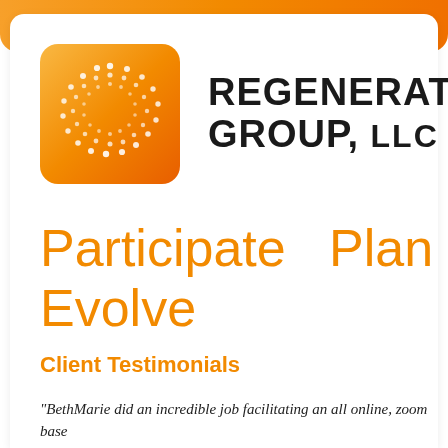[Figure (logo): Regenerate Group LLC logo with orange square containing white dot-pattern circle and bold text REGENERATE GROUP, LLC]
Participate   Plan   Shi   Evolve
Client Testimonials
“BethMarie did an incredible job facilitating an all online, zoom base organization. We saw real power in the practical, consensus-based